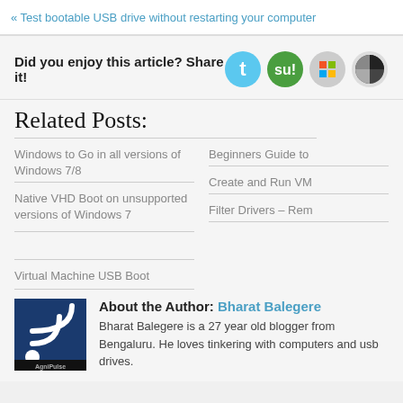« Test bootable USB drive without restarting your computer
Did you enjoy this article? Share it!
Related Posts:
Windows to Go in all versions of Windows 7/8
Beginners Guide to
Native VHD Boot on unsupported versions of Windows 7
Create and Run VM
Filter Drivers – Rem
Virtual Machine USB Boot
About the Author: Bharat Balegere
Bharat Balegere is a 27 year old blogger from Bengaluru. He loves tinkering with computers and usb drives.